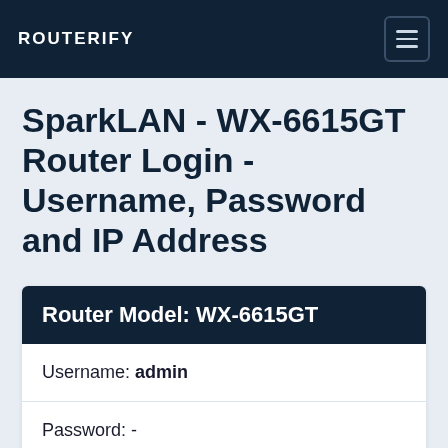ROUTERIFY
SparkLAN - WX-6615GT Router Login - Username, Password and IP Address
| Field | Value |
| --- | --- |
| Username: | admin |
| Password: | - |